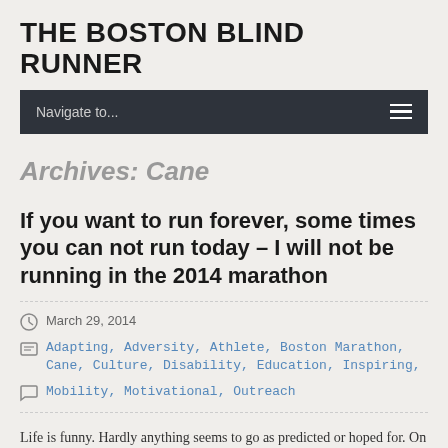THE BOSTON BLIND RUNNER
Navigate to...
Archives: Cane
If you want to run forever, some times you can not run today – I will not be running in the 2014 marathon
March 29, 2014
Adapting, Adversity, Athlete, Boston Marathon, Cane, Culture, Disability, Education, Inspiring, Mobility, Motivational, Outreach
Life is funny. Hardly anything seems to go as predicted or hoped for. On the other hand, if it has, then perhaps you have not taken